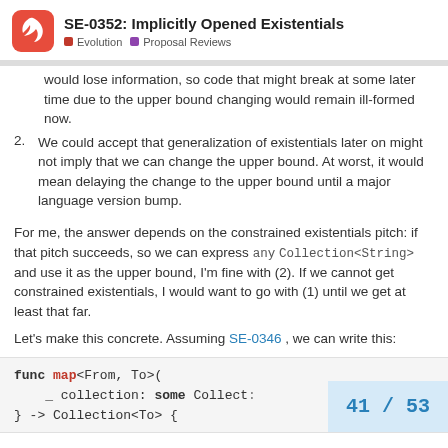SE-0352: Implicitly Opened Existentials | Evolution | Proposal Reviews
would lose information, so code that might break at some later time due to the upper bound changing would remain ill-formed now.
2. We could accept that generalization of existentials later on might not imply that we can change the upper bound. At worst, it would mean delaying the change to the upper bound until a major language version bump.
For me, the answer depends on the constrained existentials pitch: if that pitch succeeds, so we can express any Collection<String> and use it as the upper bound, I'm fine with (2). If we cannot get constrained existentials, I would want to go with (1) until we get at least that far.
Let's make this concrete. Assuming SE-0346 , we can write this:
func map<From, To>(
    _ collection: some Collect:
} -> Collection<To> {